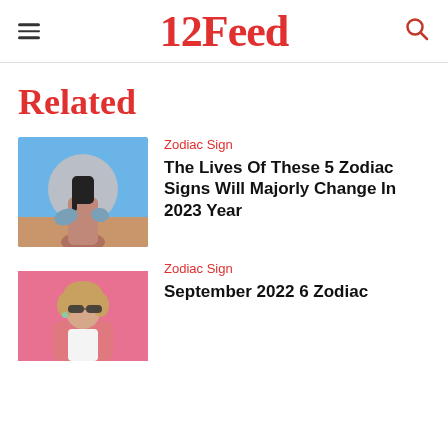12Feed
Related
[Figure (photo): Woman with black hair standing in front of a large moon, wearing a blue jacket and floral pants, against a sandy/desert background]
Zodiac Sign
The Lives Of These 5 Zodiac Signs Will Majorly Change In 2023 Year
[Figure (photo): Woman with curly hair wearing sunglasses and a pink blazer, against a pink background]
Zodiac Sign
September 2022 6 Zodiac